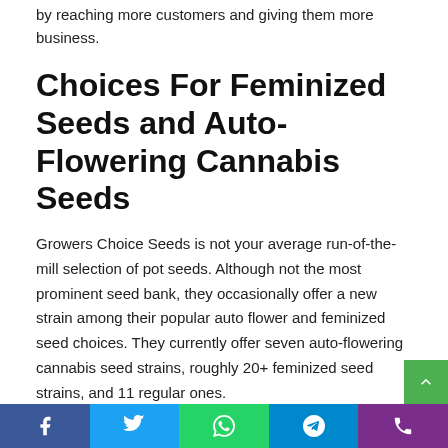by reaching more customers and giving them more business.
Choices For Feminized Seeds and Auto-Flowering Cannabis Seeds
Growers Choice Seeds is not your average run-of-the-mill selection of pot seeds. Although not the most prominent seed bank, they occasionally offer a new strain among their popular auto flower and feminized seed choices. They currently offer seven auto-flowering cannabis seed strains, roughly 20+ feminized seed strains, and 11 regular ones.
Although their feminized strains are the highest, the number of Growers Choice Seeds is best measured by the dozen. In comparison, most larger seed bank companies measure the total number of seeds by the hundreds.